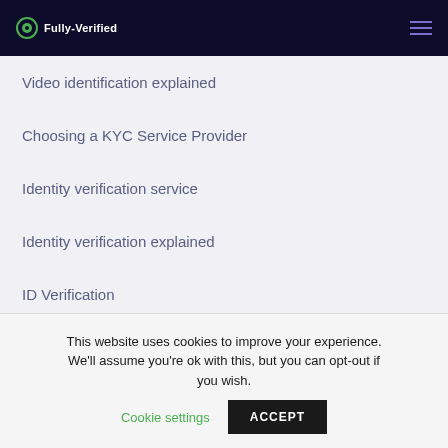Fully-Verified
Video identification explained
Choosing a KYC Service Provider
Identity verification service
Identity verification explained
ID Verification
This website uses cookies to improve your experience. We'll assume you're ok with this, but you can opt-out if you wish. Cookie settings ACCEPT